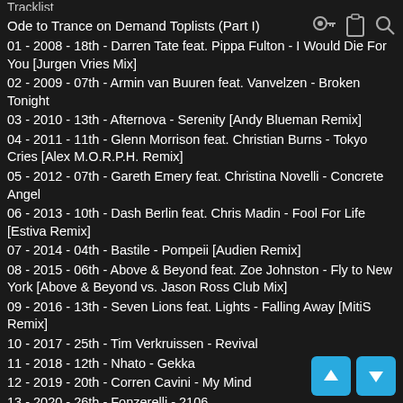Tracklist
Ode to Trance on Demand Toplists (Part I)
01 - 2008 - 18th - Darren Tate feat. Pippa Fulton - I Would Die For You [Jurgen Vries Mix]
02 - 2009 - 07th - Armin van Buuren feat. Vanvelzen - Broken Tonight
03 - 2010 - 13th - Afternova - Serenity [Andy Blueman Remix]
04 - 2011 - 11th - Glenn Morrison feat. Christian Burns - Tokyo Cries [Alex M.O.R.P.H. Remix]
05 - 2012 - 07th - Gareth Emery feat. Christina Novelli - Concrete Angel
06 - 2013 - 10th - Dash Berlin feat. Chris Madin - Fool For Life [Estiva Remix]
07 - 2014 - 04th - Bastile - Pompeii [Audien Remix]
08 - 2015 - 06th - Above & Beyond feat. Zoe Johnston - Fly to New York [Above & Beyond vs. Jason Ross Club Mix]
09 - 2016 - 13th - Seven Lions feat. Lights - Falling Away [MitiS Remix]
10 - 2017 - 25th - Tim Verkruissen - Revival
11 - 2018 - 12th - Nhato - Gekka
12 - 2019 - 20th - Corren Cavini - My Mind
13 - 2020 - 26th - Fonzerelli - 2106
14 - 2008 - 02nd - Julian Vincent feat. Cathy Burton - Certainty [...]